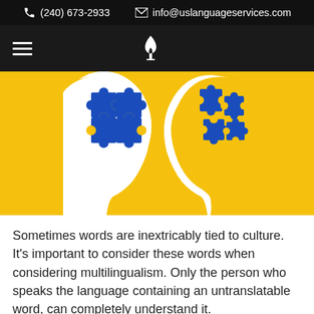(240) 673-2933    info@uslanguageservices.com
[Figure (illustration): Two white silhouette head profiles facing each other against a yellow background, each with blue puzzle pieces inside the head area, suggesting language or cognitive concepts.]
Sometimes words are inextricably tied to culture. It's important to consider these words when considering multilingualism. Only the person who speaks the language containing an untranslatable word, can completely understand it.